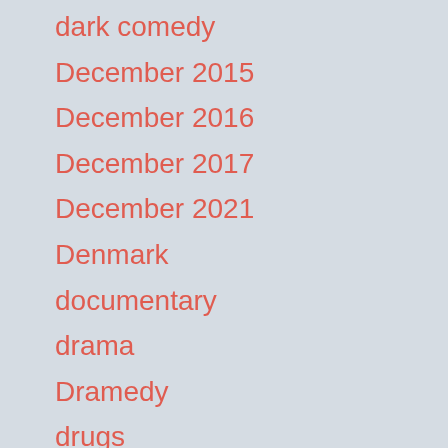dark comedy
December 2015
December 2016
December 2017
December 2021
Denmark
documentary
drama
Dramedy
drugs
Dutch
educational film
Eighties